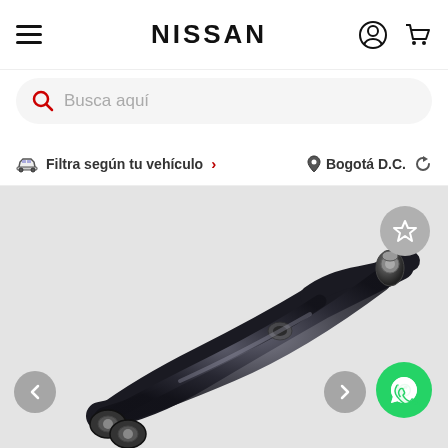NISSAN
Busca aquí
Filtra según tu vehículo > Bogotá D.C.
[Figure (photo): Nissan auto parts product page showing a suspension control arm component (lower control arm) photographed on a light gray background. Gray navigation arrows on the left and right sides. A gray star/wishlist button in the top right. A green WhatsApp contact button in the bottom right.]